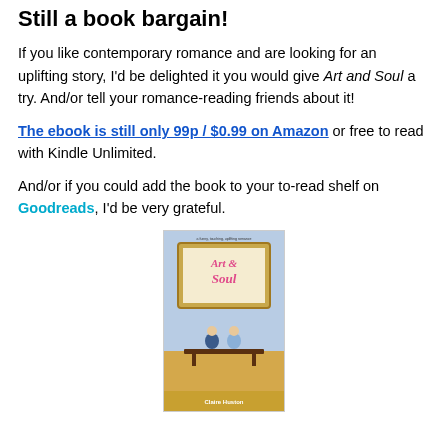Still a book bargain!
If you like contemporary romance and are looking for an uplifting story, I'd be delighted it you would give Art and Soul a try. And/or tell your romance-reading friends about it!
The ebook is still only 99p / $0.99 on Amazon or free to read with Kindle Unlimited.
And/or if you could add the book to your to-read shelf on Goodreads, I'd be very grateful.
[Figure (photo): Book cover of 'Art & Soul' by Claire Huston showing two people sitting at a bench viewed from behind, with a painting of 'Art & Soul' in a gold frame above them against a blue sky background]